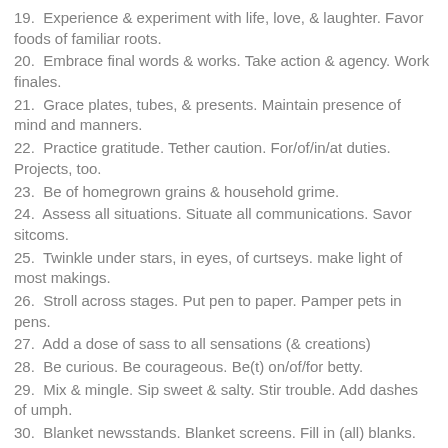19.  Experience & experiment with life, love, & laughter. Favor foods of familiar roots.
20.  Embrace final words & works. Take action & agency. Work finales.
21.  Grace plates, tubes, & presents. Maintain presence of mind and manners.
22.  Practice gratitude. Tether caution. For/of/in/at duties. Projects, too.
23.  Be of homegrown grains & household grime.
24.  Assess all situations. Situate all communications. Savor sitcoms.
25.  Twinkle under stars, in eyes, of curtseys. make light of most makings.
26.  Stroll across stages. Put pen to paper. Pamper pets in pens.
27.  Add a dose of sass to all sensations (& creations)
28.  Be curious. Be courageous. Be(t) on/of/for betty.
29.  Mix & mingle. Sip sweet & salty. Stir trouble. Add dashes of umph.
30.  Blanket newsstands. Blanket screens. Fill in (all) blanks.
31.  Run series. Run bits. Run betty.
32.  Plan jokes of spontaneous & unpredictable possibility.